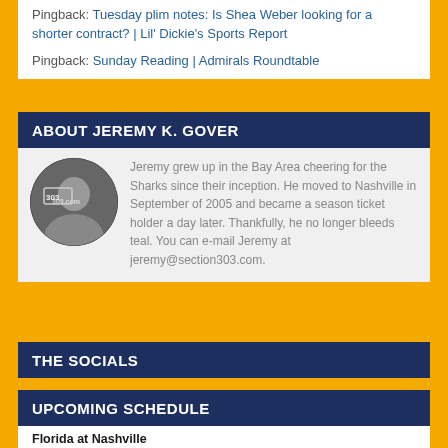Pingback: Tuesday plim notes: Is Shea Weber looking for a shorter contract? | Lil' Dickie's Sports Report
Pingback: Sunday Reading | Admirals Roundtable
ABOUT JEREMY K. GOVER
[Figure (photo): Circular profile photo of Jeremy K. Gover]
Jeremy grew up in the Bay Area cheering for the Sharks since their inception. He moved to Nashville in September of 2005 and became a season ticket holder a day later. Thankfully, he no longer bleeds teal. You can e-mail Jeremy at jeremy@section303.com.
THE SOCIALS
UPCOMING SCHEDULE
Florida at Nashville
September 26, 2022 at 3:00 pm – 6:00 pm
Florida at Nashville
September 26, 2022 at 7:00 pm – 10:00 pm